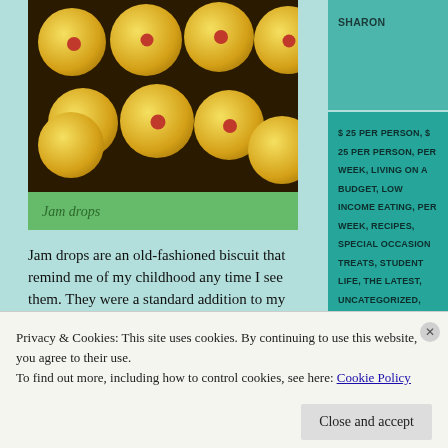[Figure (photo): Jam drop cookies with red jam centers on a cooling rack, viewed from above]
Jam drops
Jam drops are an old-fashioned biscuit that remind me of my childhood any time I see them. They were a standard addition to my lunch boxes throughout our primary school years, and I'm pretty sure they still are for a number of lucky kids today.
I remember that, when I was little, I used
SHARON
$ 25 PER PERSON, $ 25 PER PERSON, PER WEEK, LIVING ON A BUDGET, LOW INCOME EATING, PER WEEK, RECIPES, SPECIAL OCCASION TREATS, STUDENT LIFE, THE LATEST, UNCATEGORIZED, VEGETARIAN
AFTER SCHOOL SNACKS, BISCUITS, BUDGET FOOD, BUDGET SAVERS, BUDGET TREATS, COOKIES,
Privacy & Cookies: This site uses cookies. By continuing to use this website, you agree to their use.
To find out more, including how to control cookies, see here: Cookie Policy
Close and accept